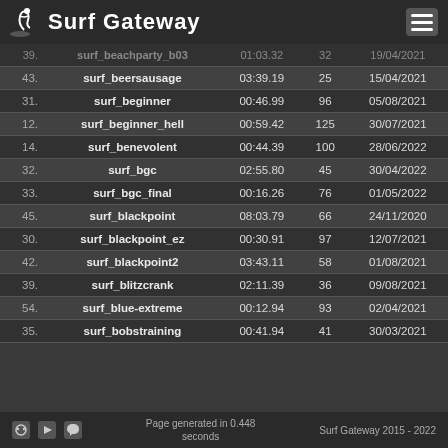Surf Gateway
| # | Map | Time | Players | Date |
| --- | --- | --- | --- | --- |
| 39. | surf_beachparty_b03 | 01:03.32 | 32 | 19/04/2021 |
| 43. | surf_beersausage | 03:39.19 | 25 | 15/04/2021 |
| 31. | surf_beginner | 00:46.99 | 96 | 05/08/2021 |
| 12. | surf_beginner_hell | 00:59.42 | 125 | 30/07/2021 |
| 14. | surf_benevolent | 00:44.39 | 100 | 28/06/2022 |
| 32. | surf_bgc | 02:55.80 | 45 | 30/04/2022 |
| 33. | surf_bgc_final | 00:16.26 | 76 | 01/05/2022 |
| 45. | surf_blackpoint | 08:03.79 | 66 | 24/11/2020 |
| 30. | surf_blackpoint_ez | 00:30.91 | 97 | 12/07/2021 |
| 42. | surf_blackpoint2 | 03:43.11 | 58 | 01/08/2021 |
| 39. | surf_blitzcrank | 02:11.39 | 36 | 09/08/2021 |
| 54. | surf_blue-extreme | 00:12.94 | 93 | 02/04/2021 |
| 35. | surf_bobstraining | 00:41.94 | 41 | 30/03/2021 |
Page generated in 0.448 seconds   Surf Gateway 2015 - 2022